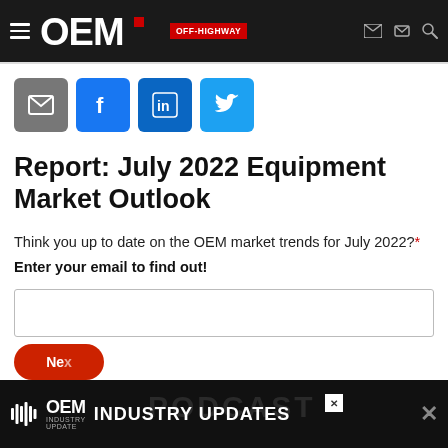OEM OFF-HIGHWAY
[Figure (screenshot): Social share buttons: email (grey), Facebook (blue), LinkedIn (blue), Twitter (light blue)]
Report: July 2022 Equipment Market Outlook
Think you up to date on the OEM market trends for July 2022?*
Enter your email to find out!
[Figure (screenshot): OEM Industry Update - Industry Updates advertisement banner at the bottom of the page]